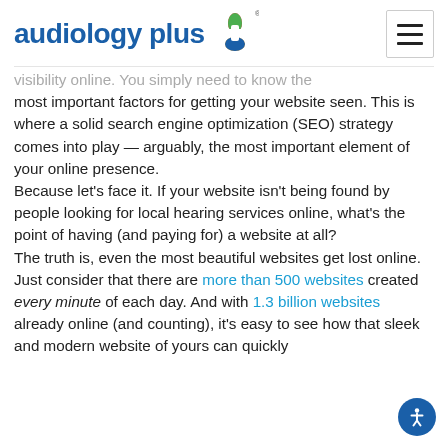audiology plus
visibility online. You simply need to know the most important factors for getting your website seen. This is where a solid search engine optimization (SEO) strategy comes into play — arguably, the most important element of your online presence.
Because let's face it. If your website isn't being found by people looking for local hearing services online, what's the point of having (and paying for) a website at all?
The truth is, even the most beautiful websites get lost online. Just consider that there are more than 500 websites created every minute of each day. And with 1.3 billion websites already online (and counting), it's easy to see how that sleek and modern website of yours can quickly